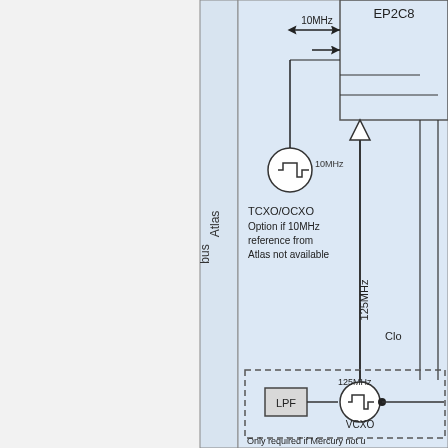[Figure (engineering-diagram): Partial schematic diagram showing Atlas bus connection, TCXO/OCXO oscillator (10MHz), a 10MHz signal path into an EP2C8 FPGA, a 125MHz signal path, LPF filter block, and VCXO oscillator (125MHz). Includes dashed box indicating optional circuit only required if Mercury not available.]